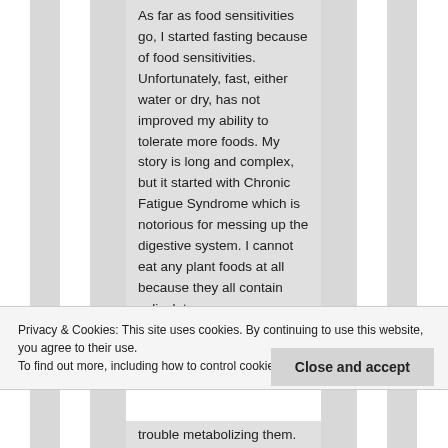As far as food sensitivities go, I started fasting because of food sensitivities. Unfortunately, fast, either water or dry, has not improved my ability to tolerate more foods. My story is long and complex, but it started with Chronic Fatigue Syndrome which is notorious for messing up the digestive system. I cannot eat any plant foods at all because they all contain saliculates...
Privacy & Cookies: This site uses cookies. By continuing to use this website, you agree to their use.
To find out more, including how to control cookies, see here: Cookie Policy
Close and accept
trouble metabolizing them.